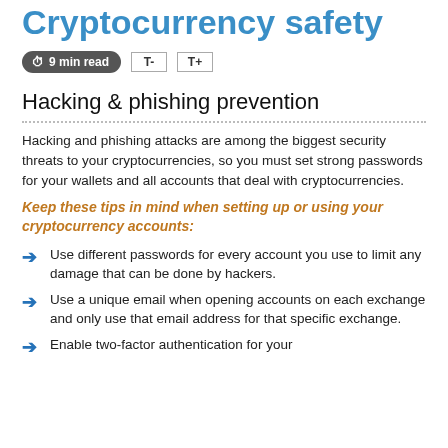Cryptocurrency safety
9 min read
Hacking & phishing prevention
Hacking and phishing attacks are among the biggest security threats to your cryptocurrencies, so you must set strong passwords for your wallets and all accounts that deal with cryptocurrencies.
Keep these tips in mind when setting up or using your cryptocurrency accounts:
Use different passwords for every account you use to limit any damage that can be done by hackers.
Use a unique email when opening accounts on each exchange and only use that email address for that specific exchange.
Enable two-factor authentication for your